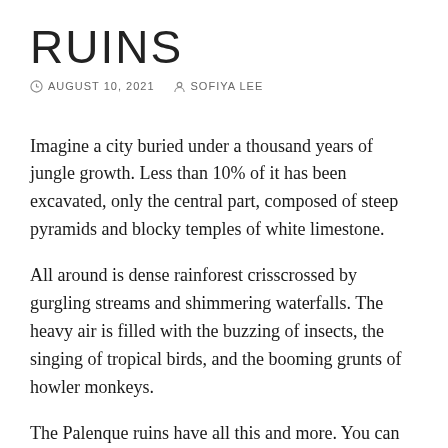RUINS
AUGUST 10, 2021   SOFIYA LEE
Imagine a city buried under a thousand years of jungle growth. Less than 10% of it has been excavated, only the central part, composed of steep pyramids and blocky temples of white limestone.
All around is dense rainforest crisscrossed by gurgling streams and shimmering waterfalls. The heavy air is filled with the buzzing of insects, the singing of tropical birds, and the booming grunts of howler monkeys.
The Palenque ruins have all this and more. You can even climb the pyramids and explore the inner chambers of the city's massive stone palace.